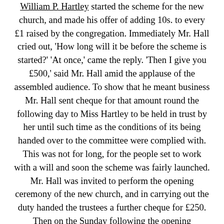William P. Hartley started the scheme for the new church, and made his offer of adding 10s. to every £1 raised by the congregation. Immediately Mr. Hall cried out, 'How long will it be before the scheme is started?' 'At once,' came the reply. 'Then I give you £500,' said Mr. Hall amid the applause of the assembled audience. To show that he meant business Mr. Hall sent cheque for that amount round the following day to Miss Hartley to be held in trust by her until such time as the conditions of its being handed over to the committee were complied with. This was not for long, for the people set to work with a will and soon the scheme was fairly launched. Mr. Hall was invited to perform the opening ceremony of the new church, and in carrying out the duty handed the trustees a further cheque for £250. Then on the Sunday following the opening ceremony Mr. Hall sent another cheque for £250, thus making his donation into one of £1,000. But this was not all. The